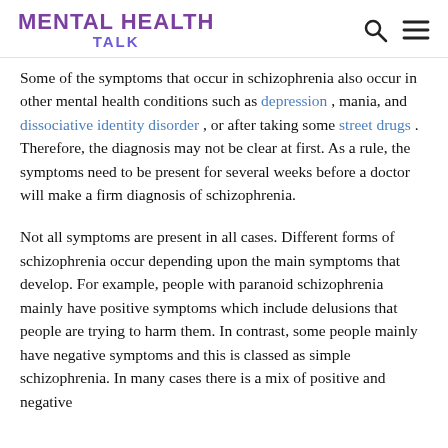MENTAL HEALTH TALK
Some of the symptoms that occur in schizophrenia also occur in other mental health conditions such as depression, mania, and dissociative identity disorder, or after taking some street drugs. Therefore, the diagnosis may not be clear at first. As a rule, the symptoms need to be present for several weeks before a doctor will make a firm diagnosis of schizophrenia.
Not all symptoms are present in all cases. Different forms of schizophrenia occur depending upon the main symptoms that develop. For example, people with paranoid schizophrenia mainly have positive symptoms which include delusions that people are trying to harm them. In contrast, some people mainly have negative symptoms and this is classed as simple schizophrenia. In many cases there is a mix of positive and negative